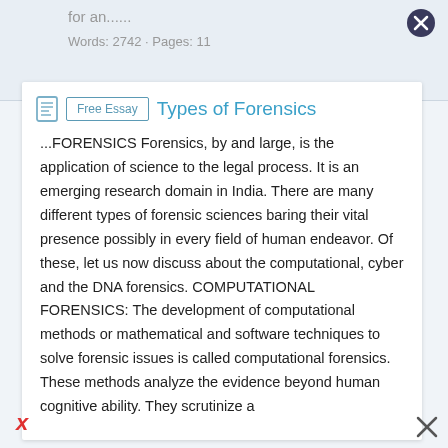for an......
Words: 2742 · Pages: 11
Types of Forensics
...FORENSICS Forensics, by and large, is the application of science to the legal process. It is an emerging research domain in India. There are many different types of forensic sciences baring their vital presence possibly in every field of human endeavor. Of these, let us now discuss about the computational, cyber and the DNA forensics. COMPUTATIONAL FORENSICS: The development of computational methods or mathematical and software techniques to solve forensic issues is called computational forensics. These methods analyze the evidence beyond human cognitive ability. They scrutinize a